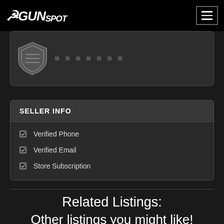GunSpot
[Figure (logo): GunSpot website logo with shield icon and partially visible card content]
SELLER INFO
Verified Phone
Verified Email
Store Subscription
Related Listings:
Other listings you might like!